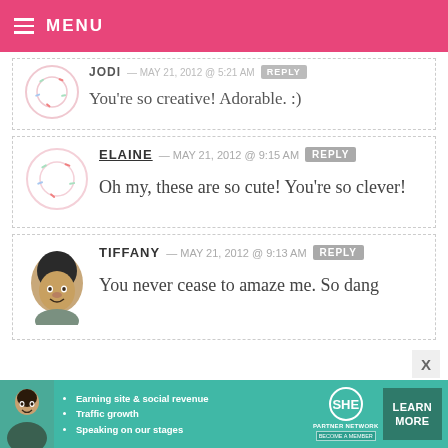MENU
JODI — MAY 21, 2012 @ 5:21 AM  REPLY
You're so creative! Adorable. :)
ELAINE — MAY 21, 2012 @ 9:15 AM  REPLY
Oh my, these are so cute! You're so clever!
TIFFANY — MAY 21, 2012 @ 9:13 AM  REPLY
You never cease to amaze me. So dang
[Figure (infographic): SHE Partner Network advertisement banner with photo, bullet points about earning site and social revenue, traffic growth, speaking on stages, SHE logo, and Learn More button]